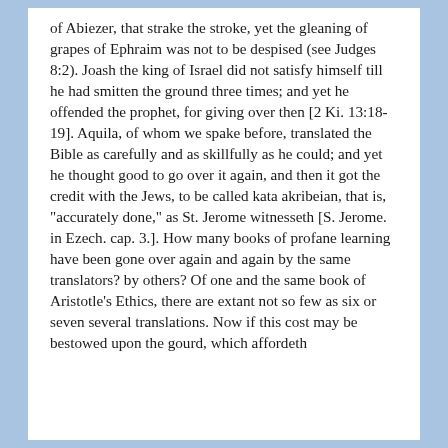of Abiezer, that strake the stroke, yet the gleaning of grapes of Ephraim was not to be despised (see Judges 8:2). Joash the king of Israel did not satisfy himself till he had smitten the ground three times; and yet he offended the prophet, for giving over then [2 Ki. 13:18-19]. Aquila, of whom we spake before, translated the Bible as carefully and as skillfully as he could; and yet he thought good to go over it again, and then it got the credit with the Jews, to be called kata akribeian, that is, "accurately done," as St. Jerome witnesseth [S. Jerome. in Ezech. cap. 3.]. How many books of profane learning have been gone over again and again by the same translators? by others? Of one and the same book of Aristotle's Ethics, there are extant not so few as six or seven several translations. Now if this cost may be bestowed upon the gourd, which affordeth